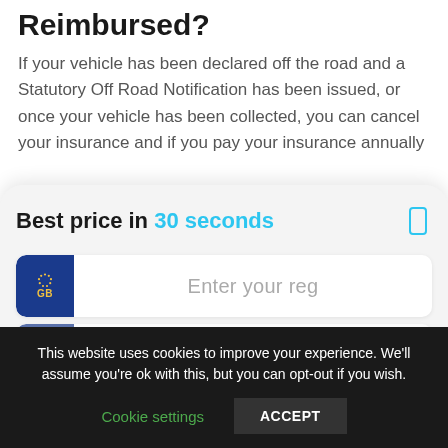Reimbursed?
If your vehicle has been declared off the road and a Statutory Off Road Notification has been issued, or once your vehicle has been collected, you can cancel your insurance and if you pay your insurance annually
Best price in 30 seconds
[Figure (other): UK vehicle registration plate input field with blue GB plate indicator showing EU stars and GB label, and placeholder text 'Enter your reg']
[Figure (other): Second partially visible UK vehicle registration input field with blue plate and orange circle icon]
This website uses cookies to improve your experience. We'll assume you're ok with this, but you can opt-out if you wish.
Cookie settings
ACCEPT